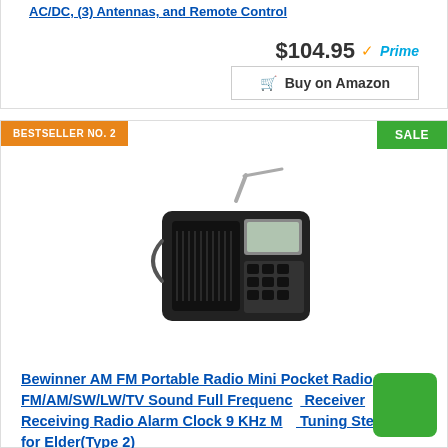AC/DC, (3) Antennas, and Remote Control
$104.95 ✓Prime
Buy on Amazon
BESTSELLER NO. 2
SALE
[Figure (photo): Black portable shortwave radio with extended antenna, speaker grille on left, LCD display and buttons on right]
Bewinner AM FM Portable Radio Mini Pocket Radio FM/AM/SW/LW/TV Sound Full Frequency Receiver Receiving Radio Alarm Clock 9 KHz MW Tuning Step, Gift for Elder(Type 2)